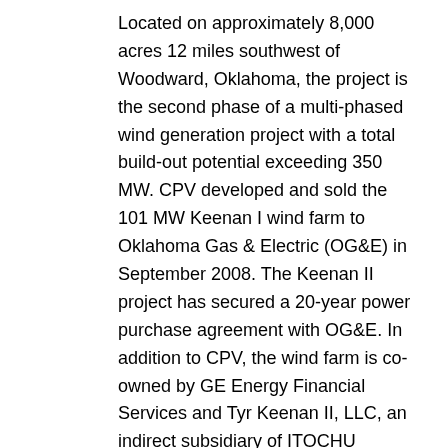Located on approximately 8,000 acres 12 miles southwest of Woodward, Oklahoma, the project is the second phase of a multi-phased wind generation project with a total build-out potential exceeding 350 MW. CPV developed and sold the 101 MW Keenan I wind farm to Oklahoma Gas & Electric (OG&E) in September 2008. The Keenan II project has secured a 20-year power purchase agreement with OG&E. In addition to CPV, the wind farm is co-owned by GE Energy Financial Services and Tyr Keenan II, LLC, an indirect subsidiary of ITOCHU Corporation.
“We are delighted to bring this wind farm project in on-schedule and to be generating more clean energy for the people of Oklahoma,” said Sean Finnerty, head of CPV’s Renewable Energy Company (CPV REC). “Keenan II will provide energy and environmental benefits to people of this region for decades to come.